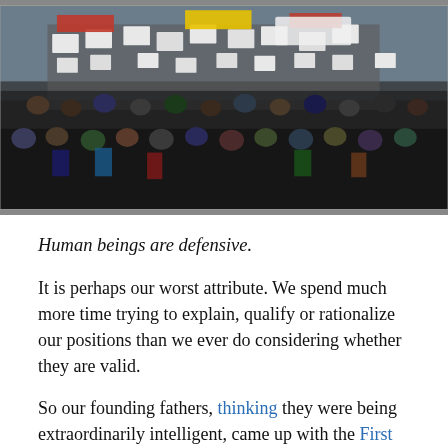[Figure (photo): Aerial view of a large protest crowd with people holding signs, banners, and flags including red, yellow, and white colored banners.]
Human beings are defensive.
It is perhaps our worst attribute. We spend much more time trying to explain, qualify or rationalize our positions than we ever do considering whether they are valid.
So our founding fathers, thinking they were being extraordinarily intelligent, came up with the First Amendment. In that particular assertion, they concluded that the new nation of America should give everyone